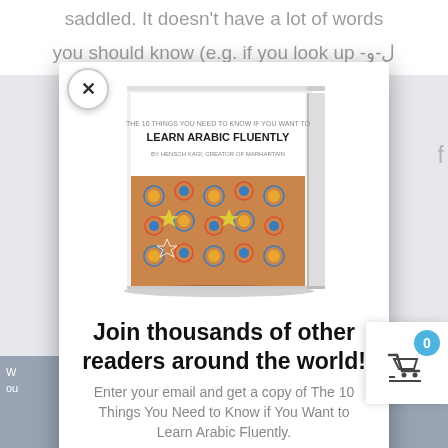سaddled. It doesn't have a lot of words you should know (e.g. if you look up -ل-و
[Figure (photo): Book cover for 'The 10 Things You Need to Know if You Want to Learn Arabic Fluently' by the creator of Marhartain, shown as a 3D angled book with a colorful Moroccan tile pattern on the cover.]
Join thousands of other readers around the world!
Enter your email and get a copy of The 10 Things You Need to Know if You Want to Learn Arabic Fluently.
Share This